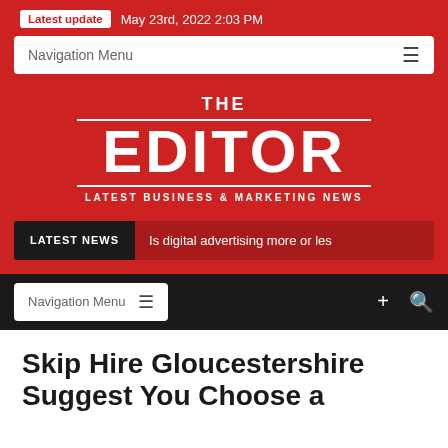Latest update May 23rd, 2022 2:03 PM
Navigation Menu
[Figure (logo): The Editor - Latest Business & Marketing News logo on red background]
LATEST NEWS | Is digital advertising more or les
Navigation Menu
Skip Hire Gloucestershire Suggest You Choose a